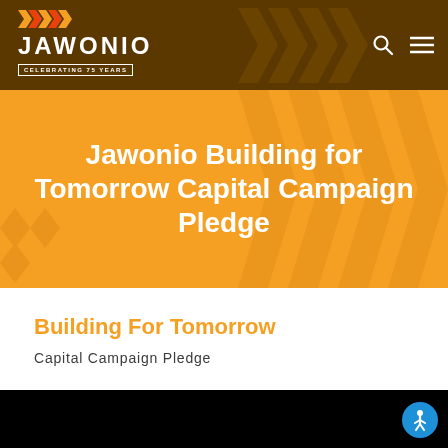JAWONIO — CELEBRATING 75 YEARS
Jawonio Building for Tomorrow Capital Campaign Pledge
Building For Tomorrow
Capital Campaign Pledge
[Figure (other): Black video player bar at the bottom of the page]